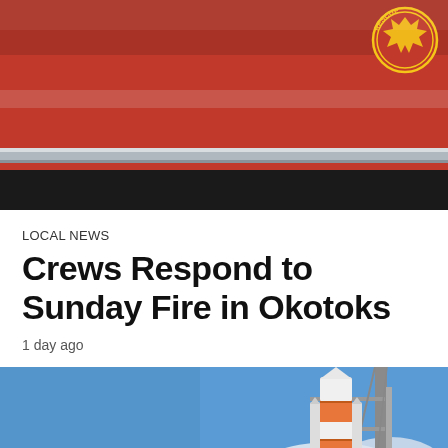[Figure (photo): Close-up of a red fire and rescue truck, showing the side panel with a gold/yellow rescue emblem badge visible in the upper right corner, and a chrome/silver trim stripe along the door.]
LOCAL NEWS
Crews Respond to Sunday Fire in Okotoks
1 day ago
[Figure (photo): A rocket (orange and white, resembling NASA's Space Launch System) on a launch pad with scaffolding/gantry structure, set against a partly cloudy blue sky.]